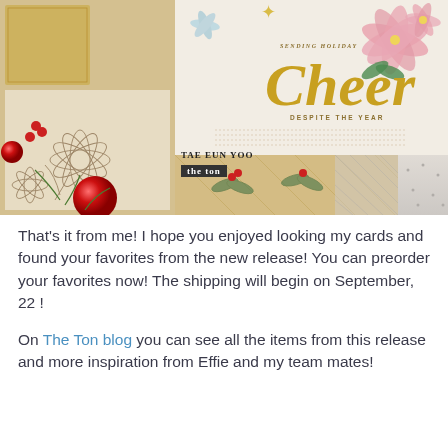[Figure (photo): Collage of holiday/Christmas craft cards showing poinsettias, gold embossed patterns, red ornament balls, and a card reading 'Sending Holiday Cheer Despite The Year' with pink flowers. Watermark shows 'TAE EUN YOO / the ton'.]
That’s it from me! I hope you enjoyed looking my cards and found your favorites from the new release! You can preorder your favorites now! The shipping will begin on September, 22 !
On The Ton blog you can see all the items from this release and more inspiration from Effie and my team mates!